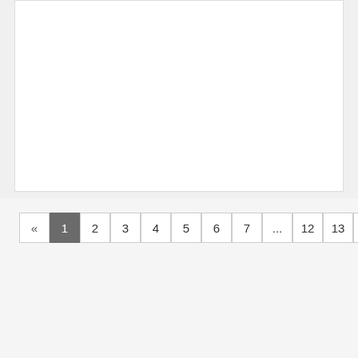« 1 2 3 4 5 6 7 ... 12 13 »
A Beautiful Life Psychology Group Inc
Address: 766 Colorado Blvd
Los Angeles, CA 90041
Phone: (818) 585-1775